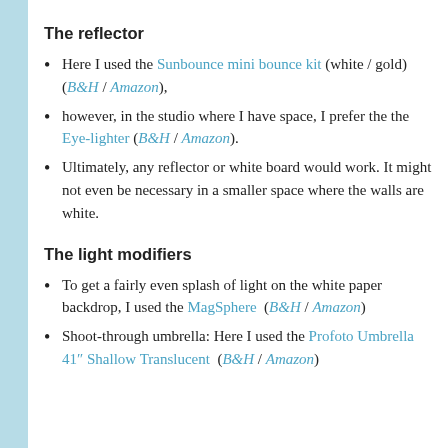The reflector
Here I used the Sunbounce mini bounce kit (white / gold)  (B&H / Amazon),
however, in the studio where I have space, I prefer the the Eye-lighter (B&H / Amazon).
Ultimately, any reflector or white board would work. It might not even be necessary in a smaller space where the walls are white.
The light modifiers
To get a fairly even splash of light on the white paper backdrop, I used the MagSphere  (B&H / Amazon)
Shoot-through umbrella: Here I used the Profoto Umbrella 41″ Shallow Translucent  (B&H / Amazon)